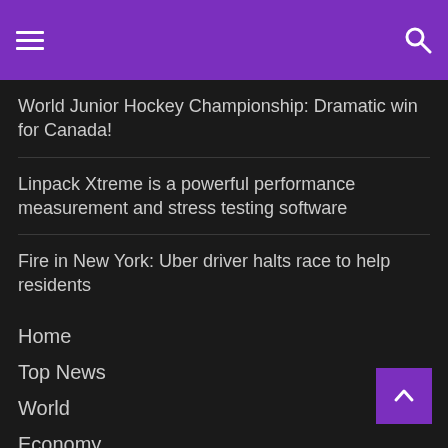[hamburger menu] [search icon]
World Junior Hockey Championship: Dramatic win for Canada!
Linpack Xtreme is a powerful performance measurement and stress testing software
Fire in New York: Uber driver halts race to help residents
Home
Top News
World
Economy
Science and Health
Technology
sport
entertainment
Contact Form